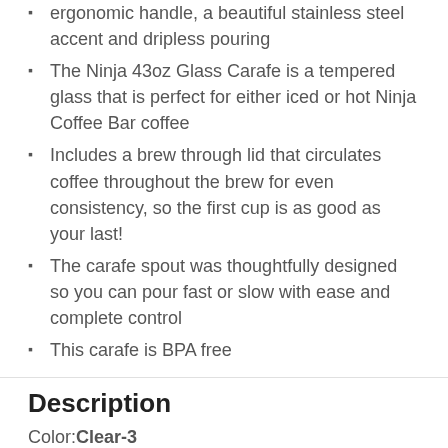ergonomic handle, a beautiful stainless steel accent and dripless pouring
The Ninja 43oz Glass Carafe is a tempered glass that is perfect for either iced or hot Ninja Coffee Bar coffee
Includes a brew through lid that circulates coffee throughout the brew for even consistency, so the first cup is as good as your last!
The carafe spout was thoughtfully designed so you can pour fast or slow with ease and complete control
This carafe is BPA free
Description
Color: Clear-3
The Ninja Glass Carafe is specially designed with an ergonomic handle, a beautiful stainless steel accent and